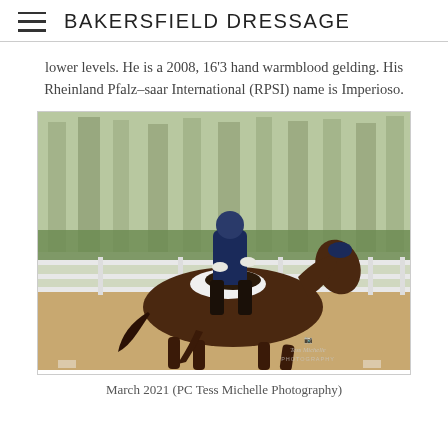BAKERSFIELD DRESSAGE
lower levels. He is a 2008, 16'3 hand warmblood gelding. His Rheinland Pfalz-saar International (RPSI) name is Imperioso.
[Figure (photo): A rider dressed in navy blue dressage attire and helmet riding a dark bay warmblood horse performing dressage in an outdoor arena with white fencing and trees in the background. Photo credit: Tess Michelle Photography.]
March 2021 (PC Tess Michelle Photography)